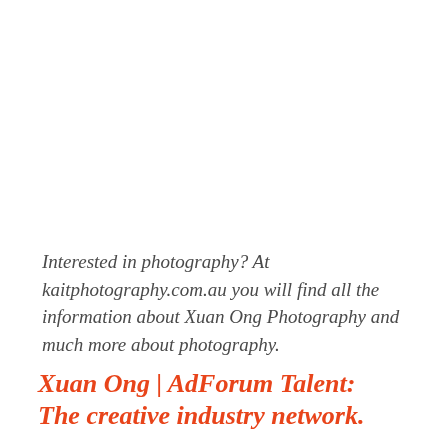Interested in photography? At kaitphotography.com.au you will find all the information about Xuan Ong Photography and much more about photography.
Xuan Ong | AdForum Talent: The creative industry network.